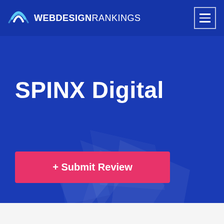WEBDESIGNRANKINGS
SPINX Digital
+ Submit Review